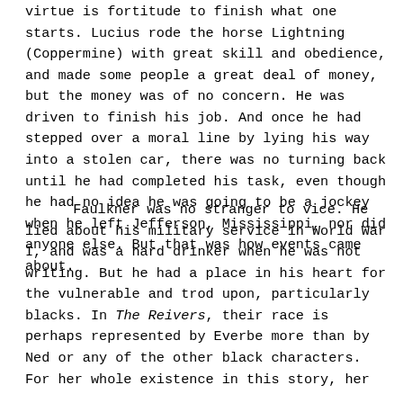virtue is fortitude to finish what one starts. Lucius rode the horse Lightning (Coppermine) with great skill and obedience, and made some people a great deal of money, but the money was of no concern. He was driven to finish his job. And once he had stepped over a moral line by lying his way into a stolen car, there was no turning back until he had completed his task, even though he had no idea he was going to be a jockey when he left Jefferson, Mississippi, nor did anyone else. But that was how events came about.
Faulkner was no stranger to vice. He lied about his military service in World War I, and was a hard drinker when he was not writing. But he had a place in his heart for the vulnerable and trod upon, particularly blacks. In The Reivers, their race is perhaps represented by Everbe more than by Ned or any of the other black characters. For her whole existence in this story, her